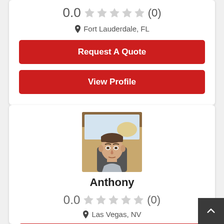0.0 ☆☆☆☆☆ (0)
Fort Lauderdale, FL
Request A Quote
View Profile
[Figure (photo): Profile photo of Anthony, a young man sitting inside a vehicle]
Anthony
0.0 ☆☆☆☆☆ (0)
Las Vegas, NV
Request A Quote (partial, clipped at bottom)